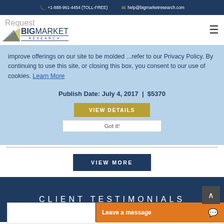+1-888-961-4454 (TOLL-FREE)   help@bigmarketresearch.com
[Figure (logo): BigMarket Research logo with navigation bar showing Request text and hamburger menu]
...refer to our Privacy Policy. By continuing to use this site, or closing this box, you consent to our use of cookies. Learn More
Publish Date: July 4, 2017  |  $5370
VIEW DETAILS
Got it!
VIEW MORE
CLIENT TESTIMONIALS
Leave a message